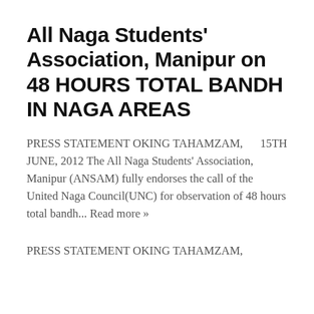All Naga Students' Association, Manipur on 48 HOURS TOTAL BANDH IN NAGA AREAS
PRESS STATEMENT OKING TAHAMZAM,      15TH JUNE, 2012 The All Naga Students' Association, Manipur (ANSAM) fully endorses the call of the United Naga Council(UNC) for observation of 48 hours total bandh... Read more »
PRESS STATEMENT OKING TAHAMZAM,